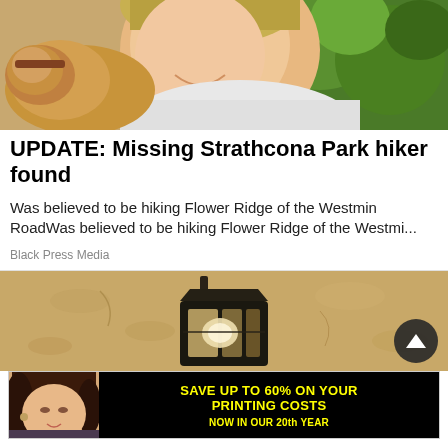[Figure (photo): Close-up photo of a young man smiling with a dog, green foliage in background]
UPDATE: Missing Strathcona Park hiker found
Was believed to be hiking Flower Ridge of the Westmin RoadWas believed to be hiking Flower Ridge of the Westmi...
Black Press Media
[Figure (photo): Close-up of a dark metal outdoor wall lantern/sconce mounted on a stucco wall]
[Figure (infographic): Advertisement banner: woman photo on left, black background with yellow text: SAVE UP TO 60% ON YOUR PRINTING COSTS, NOW IN OUR 20th YEAR]